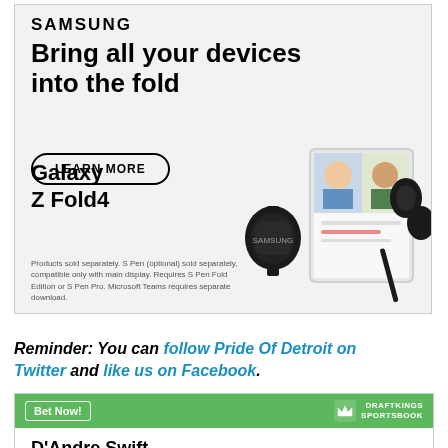[Figure (illustration): Samsung advertisement featuring Galaxy Z Fold4. Shows brand name, tagline 'Bring all your devices into the fold', a 'LEARN MORE' button, Galaxy Z Fold4 text, product images of phone/tablet/earbuds/watch, and fine print disclaimer.]
Reminder: You can follow Pride Of Detroit on Twitter and like us on Facebook.
[Figure (infographic): DraftKings Sportsbook widget with green header, 'Bet Now!' button, DraftKings logo. Shows D'Andre Swift player row and a Team MVP stat row with +15000 value.]